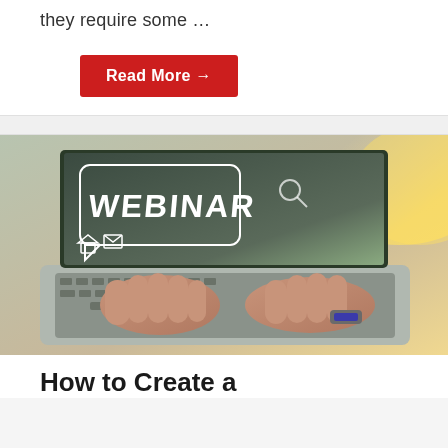they require some …
Read More →
[Figure (photo): Person typing on a laptop with a holographic 'WEBINAR' text overlay displayed on the laptop screen, along with digital communication icons. The image has warm lighting with a glowing background.]
How to Create a